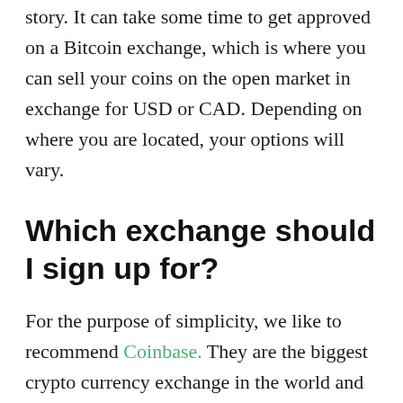story. It can take some time to get approved on a Bitcoin exchange, which is where you can sell your coins on the open market in exchange for USD or CAD. Depending on where you are located, your options will vary.
Which exchange should I sign up for?
For the purpose of simplicity, we like to recommend Coinbase. They are the biggest crypto currency exchange in the world and have a strong reputation. They also allow small purchases without having to authenticate your ID. However, if you want to sell amounts larger than $100 a week then you will need to verify